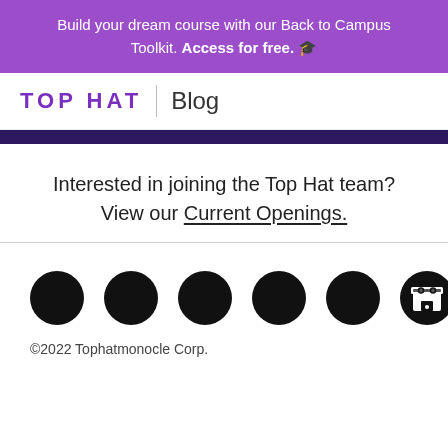Build your dream course with our Back to Campus Toolkit. Access for free. 🎓
[Figure (logo): Top Hat logo with 'TOP HAT' in purple uppercase letters followed by a vertical divider and 'Blog' in gray]
Interested in joining the Top Hat team? View our Current Openings.
[Figure (illustration): Six social media icons: five black circles (social network logos) and one store icon]
©2022 Tophatmonocle Corp.